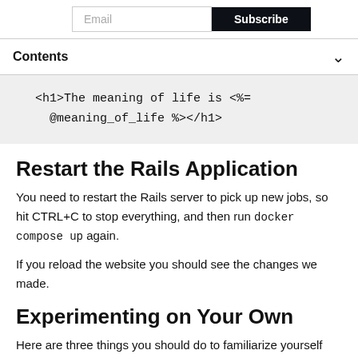Email | Subscribe
Contents
<h1>The meaning of life is <%= @meaning_of_life %></h1>
Restart the Rails Application
You need to restart the Rails server to pick up new jobs, so hit CTRL+C to stop everything, and then run docker compose up again.
If you reload the website you should see the changes we made.
Experimenting on Your Own
Here are three things you should do to familiarize yourself with your new application: